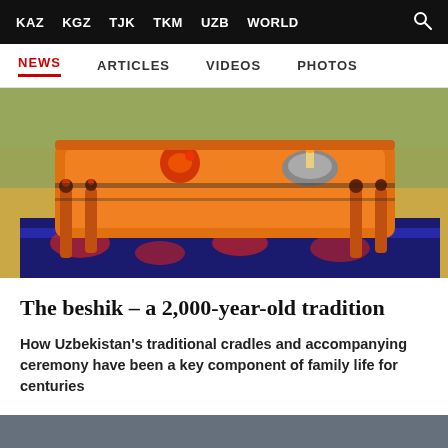KAZ  KGZ  TJK  TKM  UZB  WORLD
NEWS  ARTICLES  VIDEOS  PHOTOS
[Figure (photo): Colorful traditional Uzbek beshik (wooden cradle) decorated with orange, black and red patterns, sitting on an ikat fabric, outdoors with trees in background]
The beshik – a 2,000-year-old tradition
How Uzbekistan’s traditional cradles and accompanying ceremony have been a key component of family life for centuries
[Figure (photo): Thumbnail image of outdoor scene, partially visible, with date label 30.07 and a thumbs-up icon overlay]